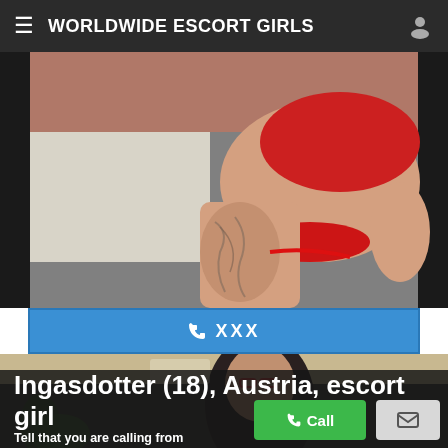WORLDWIDE ESCORT GIRLS
[Figure (photo): Photo of a person in red lingerie sitting on a dark couch, showing tattoos on legs]
☎ XXX
[Figure (photo): Photo of a dark-haired person with glasses, partial view]
Ingasdotter (18), Austria, escort girl
Tell that you are calling from pompanopelican.com to increase your chances of getting a discount.